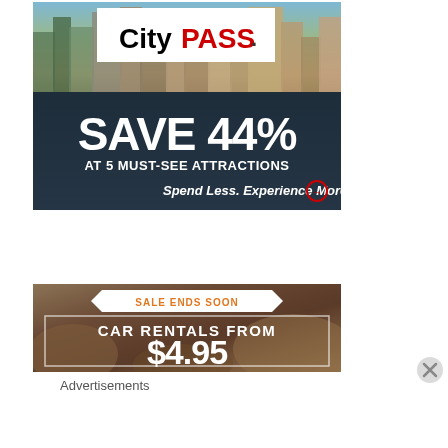[Figure (illustration): CityPASS advertisement banner showing a cityscape skyline photo above dark background with text: SAVE 44% AT 5 MUST-SEE ATTRACTIONS, Spend Less. Experience More. with a circular arrow icon]
[Figure (illustration): Car rental advertisement showing desert rocky landscape background with ribbon banner reading SALE ENDS SOON, text CAR RENTALS FROM $4.95]
Advertisements